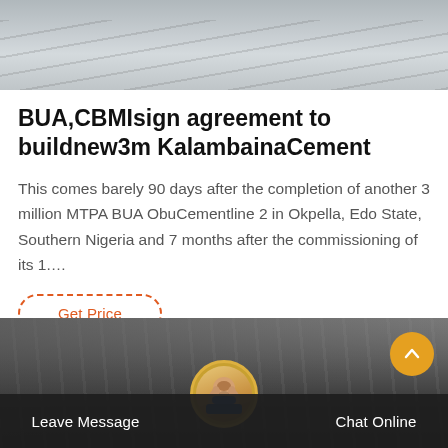[Figure (photo): Top cropped photo of an industrial or construction area, grayscale tones with diagonal surface lines]
BUA,CBMIsign agreement to buildnew3m KalambainaCement
This comes barely 90 days after the completion of another 3 million MTPA BUA ObuCementline 2 in Okpella, Edo State, Southern Nigeria and 7 months after the commissioning of its 1....
Get Price
[Figure (photo): Bottom photo of an industrial factory interior, grayscale, with a yellow scroll-to-top button and a customer service bottom bar with Leave Message on the left, a chat agent avatar in the center, and Chat Online on the right]